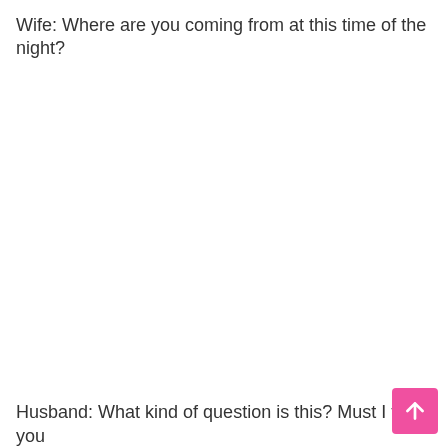Wife: Where are you coming from at this time of the night?
Husband: What kind of question is this? Must I tell you
[Figure (other): Pink scroll-to-top button with white upward arrow icon]